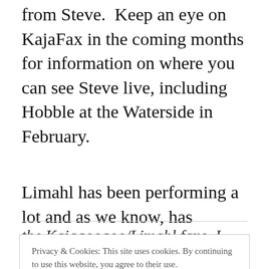from Steve.  Keep an eye on KajaFax in the coming months for information on where you can see Steve live, including Hobble at the Waterside in February.
Limahl has been performing a lot and as we know, has stepped a lot closer to his fans over the past couple of months and also announced a new single to come soon, can't wait for that one.
Privacy & Cookies: This site uses cookies. By continuing to use this website, you agree to their use.
To find out more, including how to control cookies, see here: Cookie Policy
the Kajagoogoo/Limahl fans. I sincerely hope you're